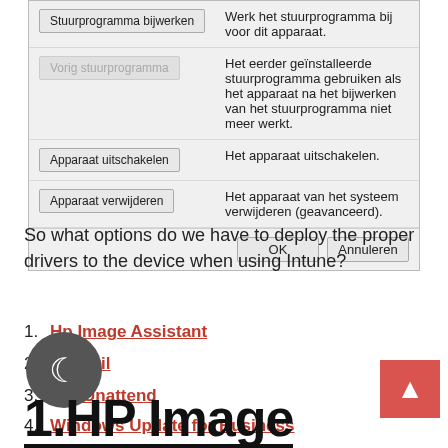[Figure (screenshot): Windows Device Manager dialog screenshot showing options: Stuurprogramma bijwerken, Vorig stuurprogramma (greyed out), Apparaat uitschakelen, Apparaat verwijderen, with OK and Annuleren buttons.]
So what options do we have to deploy the proper drivers to the device when using Intune?
Hp Image Assistant
PnPUtil
PnPUnattend
Windows Update for Business
1.HP Image